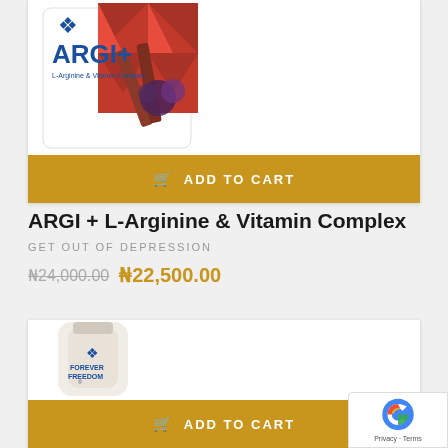[Figure (photo): ARGI+ L-Arginine & Vitamin Complex product bag with red and white geometric pattern design]
ADD TO CART
ARGI + L-Arginine & Vitamin Complex
GET OUT OF DEPRESSION
₦24,000.00  ₦22,500.00
[Figure (photo): Forever Freedom aloe vera drink bottle in white/cream color]
ADD TO CART